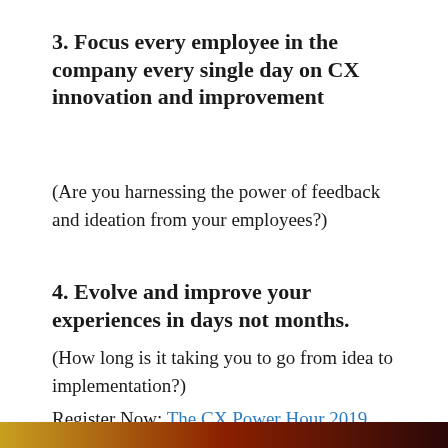3. Focus every employee in the company every single day on CX innovation and improvement
(Are you harnessing the power of feedback and ideation from your employees?)
4. Evolve and improve your experiences in days not months.
(How long is it taking you to go from idea to implementation?)
Register Now: The CX Power Hour 2019
[Figure (illustration): Dark gradient bar at the bottom of the page in brown/dark red/black tones]